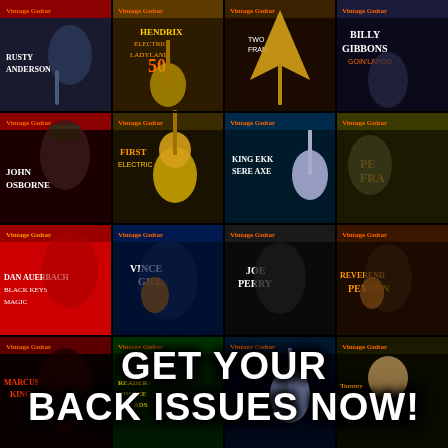[Figure (illustration): Collage of multiple Vintage Guitar magazine covers arranged in a grid, showing various guitarists including Rusty Anderson, John Osborne, Dan Auerbach, Vince Gill, Joe Perry, Billy Gibbons, Marcus King, Tommy Emmanuel, and others. Covers feature the 'Vintage Guitar' masthead in orange/red lettering.]
GET YOUR BACK ISSUES NOW!